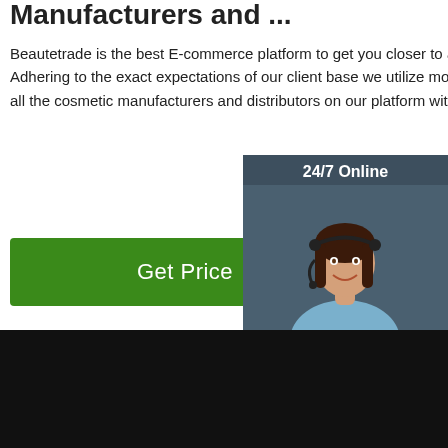Manufacturers and ...
Beautetrade is the best E-commerce platform to get you closer to a vast directory of potential clients. Adhering to the exact expectations of our client base we utilize most ideal marketing solutions to empower all the cosmetic manufacturers and distributors on our platform with verified and authentic business leads.
Get Price
[Figure (photo): Customer service representative with headset, 24/7 Online chat widget with QUOTATION button]
[Figure (photo): Product photo: white bullet-shaped cosmetic product on dark background with TOP logo overlay]